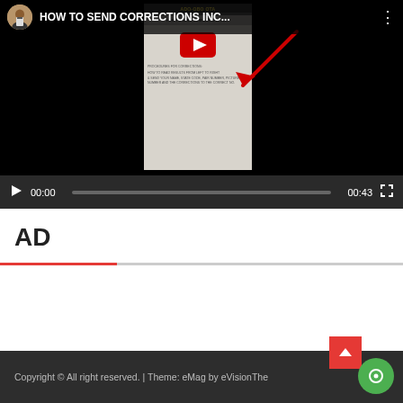[Figure (screenshot): YouTube video player showing 'HOW TO SEND CORRECTIONS INC...' with a thumbnail of a document about corrections procedures, play button, progress bar showing 00:00 / 00:43, and fullscreen control.]
AD
Copyright © All right reserved. | Theme: eMag by eVisionThe...